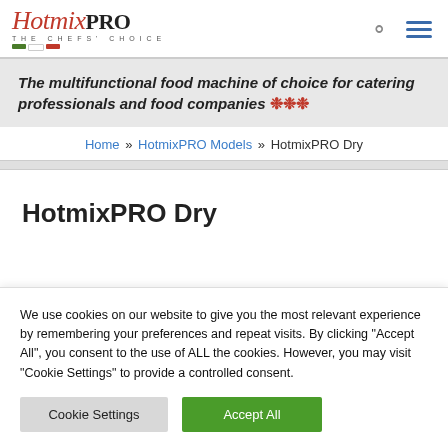HotmixPRO — THE CHEFS' CHOICE [logo with search and menu icons]
The multifunctional food machine of choice for catering professionals and food companies ❊❊❊
Home » HotmixPRO Models » HotmixPRO Dry
HotmixPRO Dry
We use cookies on our website to give you the most relevant experience by remembering your preferences and repeat visits. By clicking "Accept All", you consent to the use of ALL the cookies. However, you may visit "Cookie Settings" to provide a controlled consent.